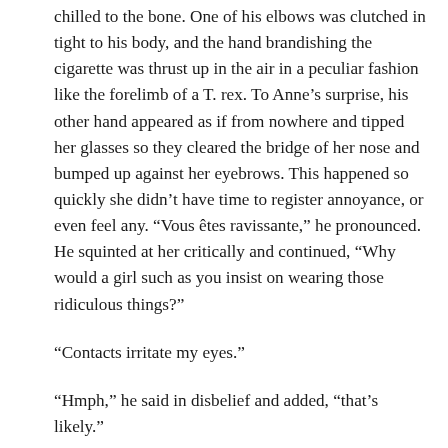chilled to the bone. One of his elbows was clutched in tight to his body, and the hand brandishing the cigarette was thrust up in the air in a peculiar fashion like the forelimb of a T. rex. To Anne's surprise, his other hand appeared as if from nowhere and tipped her glasses so they cleared the bridge of her nose and bumped up against her eyebrows. This happened so quickly she didn't have time to register annoyance, or even feel any. “Vous êtes ravissante,” he pronounced. He squinted at her critically and continued, “Why would a girl such as you insist on wearing those ridiculous things?”
“Contacts irritate my eyes.”
“Hmph,” he said in disbelief and added, “that’s likely.”
Anne caught Mr. Loa’s eye in the rearview mirror. He shrugged minutely. “I just got back from the police station.”
“I know y’did!” Starkey interrupted, rocking forward from